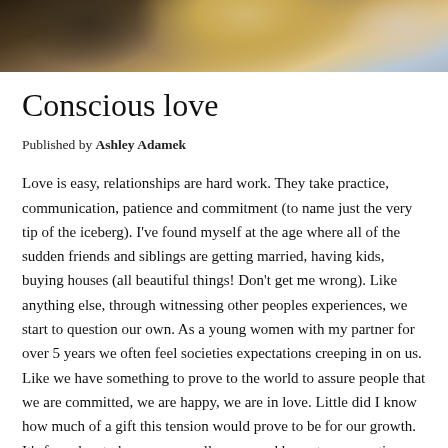[Figure (photo): Cropped photo at top of page showing two people, one with dark hair and one with blonde hair, outdoors.]
Conscious love
Published by Ashley Adamek
Love is easy, relationships are hard work. They take practice, communication, patience and commitment (to name just the very tip of the iceberg). I've found myself at the age where all of the sudden friends and siblings are getting married, having kids, buying houses (all beautiful things! Don't get me wrong). Like anything else, through witnessing other peoples experiences, we start to question our own. As a young women with my partner for over 5 years we often feel societies expectations creeping in on us. Like we have something to prove to the world to assure people that we are committed, we are happy, we are in love. Little did I know how much of a gift this tension would prove to be for our growth. It's forced us to have some really open and honest conversations about our future that may not have happened otherwise. Instead of being committed to fulfilling